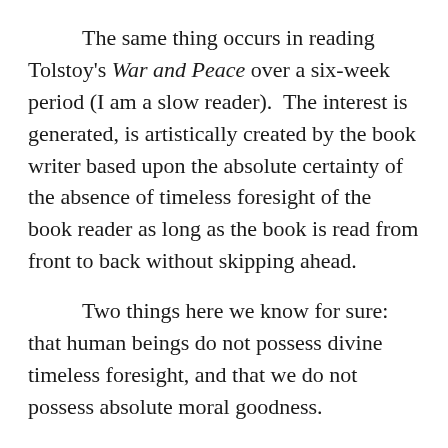The same thing occurs in reading Tolstoy's War and Peace over a six-week period (I am a slow reader).  The interest is generated, is artistically created by the book writer based upon the absolute certainty of the absence of timeless foresight of the book reader as long as the book is read from front to back without skipping ahead.
Two things here we know for sure: that human beings do not possess divine timeless foresight, and that we do not possess absolute moral goodness.
All three complimentary components: